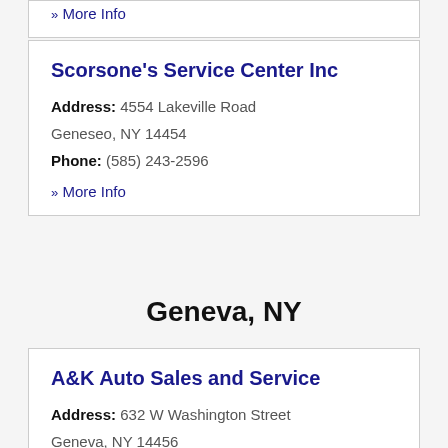» More Info
Scorsone's Service Center Inc
Address: 4554 Lakeville Road Geneseo, NY 14454
Phone: (585) 243-2596
» More Info
Geneva, NY
A&K Auto Sales and Service
Address: 632 W Washington Street Geneva, NY 14456